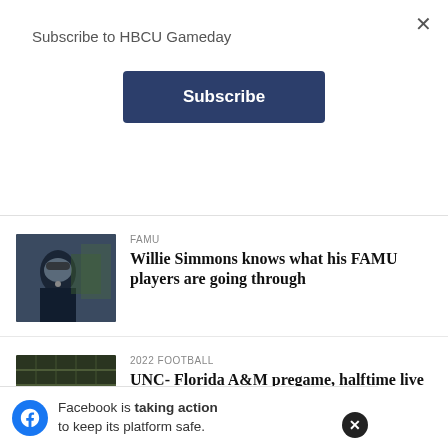Subscribe to HBCU Gameday
×
Subscribe
FAMU
Willie Simmons knows what his FAMU players are going through
[Figure (photo): Coach in dark jacket with headset mic, stadium crowd in background]
2022 FOOTBALL
UNC- Florida A&M pregame, halftime live up to billing
[Figure (photo): Marching band on field viewed from above]
ALABAMA STATE
Alabama State ends SWAC losing streak
[Figure (photo): Dark image with bright light, partial view]
Facebook is taking action to keep its platform safe.